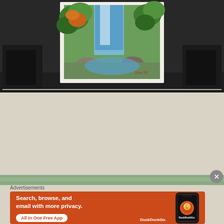[Figure (photo): A framed waterfall painting displayed on a dark surface. The painting shows a waterfall with green foliage and orange autumn leaves, painted in an impressionistic style with a visible signature.]
Hidden waterfalls
Advertisements
[Figure (screenshot): DuckDuckGo advertisement banner with orange background. Text reads: Search, browse, and email with more privacy. All in One Free App. Features DuckDuckGo logo and a phone mockup on the right side.]